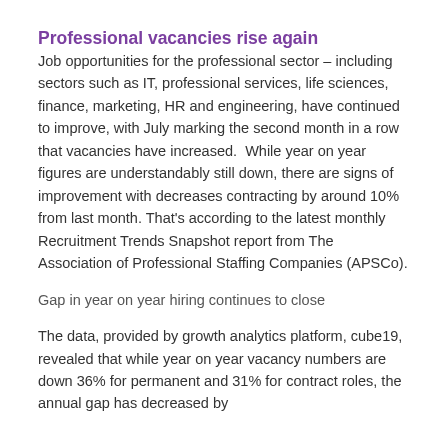Professional vacancies rise again
Job opportunities for the professional sector – including sectors such as IT, professional services, life sciences, finance, marketing, HR and engineering, have continued to improve, with July marking the second month in a row that vacancies have increased.  While year on year figures are understandably still down, there are signs of improvement with decreases contracting by around 10% from last month. That's according to the latest monthly Recruitment Trends Snapshot report from The Association of Professional Staffing Companies (APSCo).
Gap in year on year hiring continues to close
The data, provided by growth analytics platform, cube19, revealed that while year on year vacancy numbers are down 36% for permanent and 31% for contract roles, the annual gap has decreased by